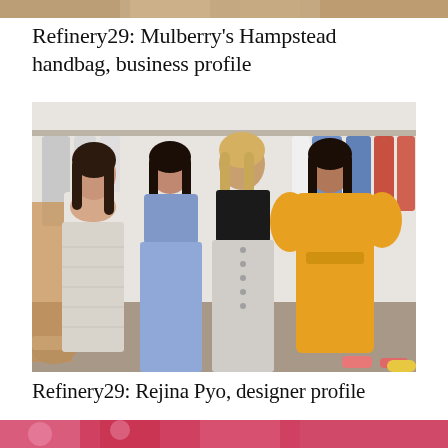[Figure (photo): Narrow horizontal photo strip at the top of the page, partially visible, showing warm beige/tan tones]
Refinery29: Mulberry’s Hampstead handbag, business profile
[Figure (photo): Four women posing together in a fashion showroom/studio with clothing racks in the background. From left to right: woman in white/silver lace dress, woman in blue top and blue skirt, woman in black top and silver/white button-front skirt, woman in bright yellow/orange dress.]
Refinery29: Rejina Pyo, designer profile
[Figure (photo): Narrow horizontal photo strip at the bottom of the page, partially visible, showing pink/red tones]